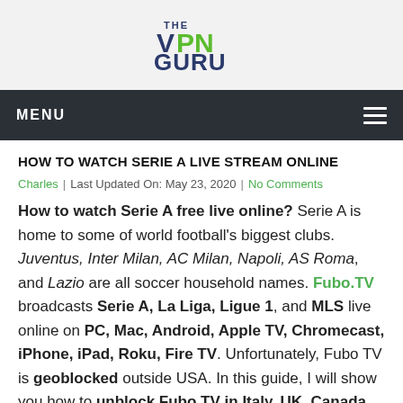[Figure (logo): The VPN Guru logo — 'THE' in dark blue small text above 'VPN' with 'VPN' in dark blue and green stylized letters, 'GURU' below in dark blue bold text]
MENU
HOW TO WATCH SERIE A LIVE STREAM ONLINE
Charles | Last Updated On: May 23, 2020 | No Comments
How to watch Serie A free live online? Serie A is home to some of world football's biggest clubs. Juventus, Inter Milan, AC Milan, Napoli, AS Roma, and Lazio are all soccer household names. Fubo.TV broadcasts Serie A, La Liga, Ligue 1, and MLS live online on PC, Mac, Android, Apple TV, Chromecast, iPhone, iPad, Roku, Fire TV. Unfortunately, Fubo TV is geoblocked outside USA. In this guide, I will show you how to unblock Fubo TV in Italy, UK, Canada, Spain, Australia, or